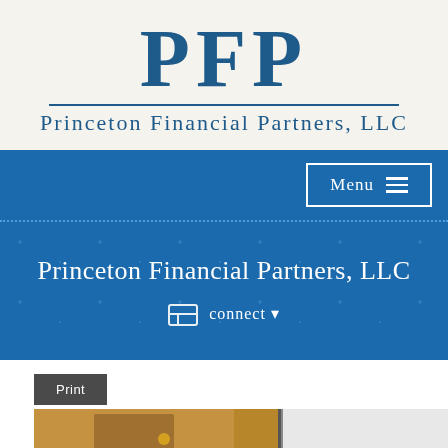[Figure (logo): PFP logo with large blue serif letters 'PFP', horizontal rule, and 'Princeton Financial Partners, LLC' text below]
Menu
Princeton Financial Partners, LLC
connect
Print